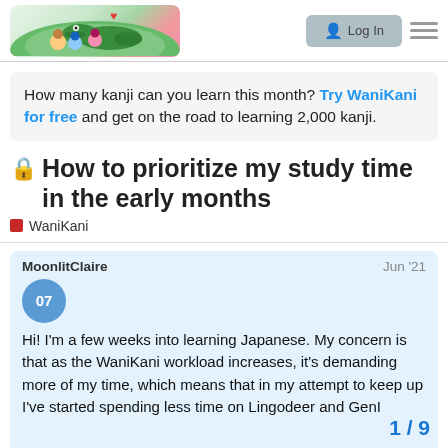[Figure (screenshot): Website header with illustrated logo (cartoon characters with a crocodile) on the left and a Log In button on the right]
How many kanji can you learn this month? Try WaniKani for free and get on the road to learning 2,000 kanji.
🔒 How to prioritize my study time in the early months
WaniKani
MoonlitClaire  Jun '21
[Figure (other): Avatar circle with number 07]
Hi! I'm a few weeks into learning Japanese. My concern is that as the WaniKani workload increases, it's demanding more of my time, which means that in my attempt to keep up I've started spending less time on Lingodeer and GenI
I'm also interested in Bunpro as I've heard
1 / 9